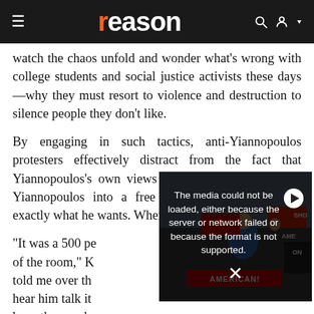reason
watch the chaos unfold and wonder what's wrong with college students and social justice activists these days—why they must resort to violence and destruction to silence people they don't like.
By engaging in such tactics, anti-Yiannopoulos protesters effectively distract from the fact that Yiannopoulos's own views are loathsome. They turn Yiannopoulos into a free speech martyr, which is exactly what he wants. When Milo is censored, Mil
[Figure (screenshot): Embedded video player showing a protest scene with people holding signs including 'AMERICAN!'. A media error overlay reads: 'The media could not be loaded, either because the server or network failed or because the format is not supported.' with a play button and close X icon.]
"It was a 500 pe of the room," K told me over th hear him talk it have thousands just making him more famous."